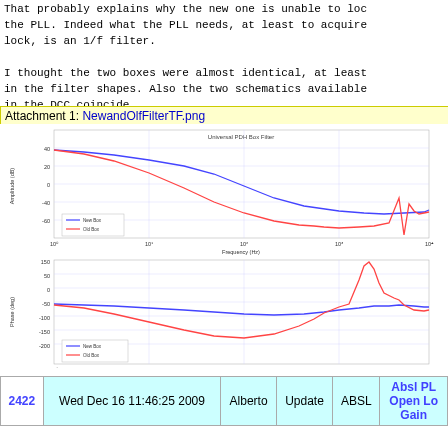That probably explains why the new one is unable to lock the PLL. Indeed what the PLL needs, at least to acquire lock, is an 1/f filter.

I thought the two boxes were almost identical, at least in the filter shapes. Also the two schematics available in the DCC coincide.
Attachment 1: NewandOlfFilterTF.png
[Figure (continuous-plot): Two Bode plots titled 'Universal PDH Box Filter'. Top plot shows Amplitude (dB) vs Frequency (Hz) with two curves: blue (New Box) starting ~35dB rolling off to ~-35dB flat, and red (Old Box) dropping more steeply with a notch near 10^4 Hz. Bottom plot shows Phase (deg) vs Frequency (Hz) with blue curve gradual phase shift and red curve showing deeper phase excursion with a spike near 10^4 Hz.]
| 2422 | Wed Dec 16 11:46:25 2009 | Alberto | Update | ABSL | Absl PL Open Lo Gain |
| --- | --- | --- | --- | --- | --- |